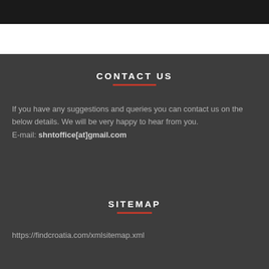CONTACT US
If you have any suggestions and queries you can contact us on the below details. We will be very happy to hear from you.
E-mail: shntoffice[at]gmail.com
SITEMAP
https://findcroatia.com/xmlsitemap.xml